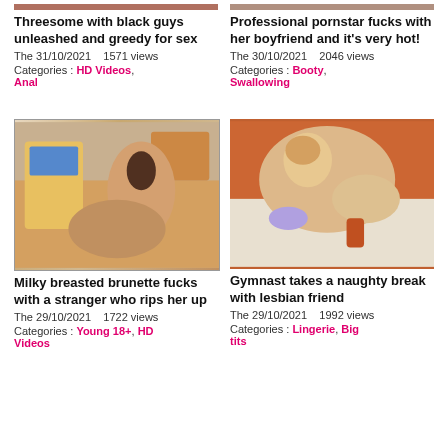[Figure (photo): Partial thumbnail top of first video card]
Threesome with black guys unleashed and greedy for sex
The 31/10/2021    1571 views
Categories : HD Videos, Anal
[Figure (photo): Partial thumbnail top of second video card]
Professional pornstar fucks with her boyfriend and it&#39;s very hot!
The 30/10/2021    2046 views
Categories : Booty, Swallowing
[Figure (photo): Thumbnail of brunette on yellow couch]
Milky breasted brunette fucks with a stranger who rips her up
The 29/10/2021    1722 views
Categories : Young 18+, HD Videos
[Figure (photo): Thumbnail of blonde gymnast scene]
Gymnast takes a naughty break with lesbian friend
The 29/10/2021    1992 views
Categories : Lingerie, Big tits